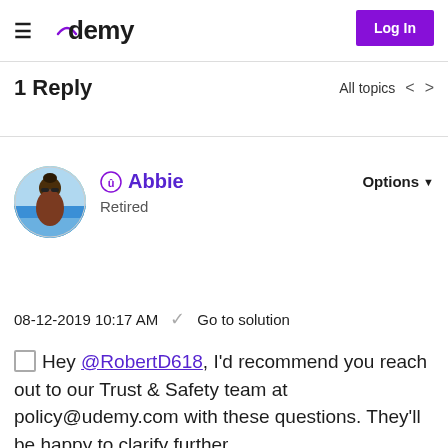Udemy — Log In
1 Reply
All topics
[Figure (photo): Circular avatar photo of user Abbie, showing a person with sunglasses at a beach]
Abbie — Retired
08-12-2019 10:17 AM    Go to solution
Hey @RobertD618, I'd recommend you reach out to our Trust & Safety team at policy@udemy.com with these questions. They'll be happy to clarify further.